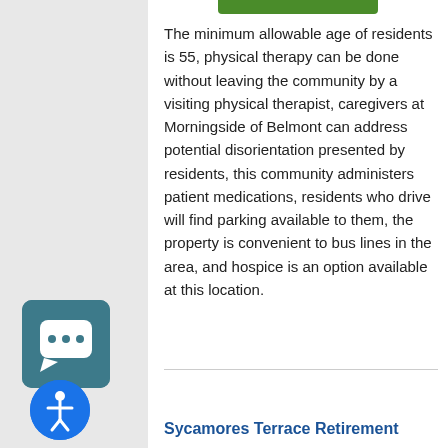[Figure (other): Green rounded rectangle bar at top of content card]
The minimum allowable age of residents is 55, physical therapy can be done without leaving the community by a visiting physical therapist, caregivers at Morningside of Belmont can address potential disorientation presented by residents, this community administers patient medications, residents who drive will find parking available to them, the property is convenient to bus lines in the area, and hospice is an option available at this location.
[Figure (other): Teal/dark cyan rounded square chat button icon on left sidebar]
[Figure (other): Blue circular accessibility icon button on left sidebar]
Sycamores Terrace Retirement